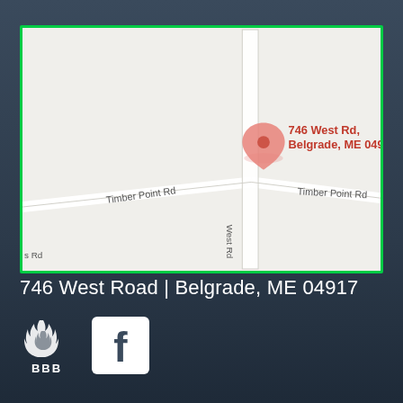[Figure (map): Google Maps screenshot showing intersection of West Rd and Timber Point Rd in Belgrade, ME 04917. A red location pin marks 746 West Rd, Belgrade, ME 04917. Map has green border frame.]
746 West Road | Belgrade, ME 04917
[Figure (logo): BBB (Better Business Bureau) logo in white]
[Figure (logo): Facebook logo in white square with rounded corners]